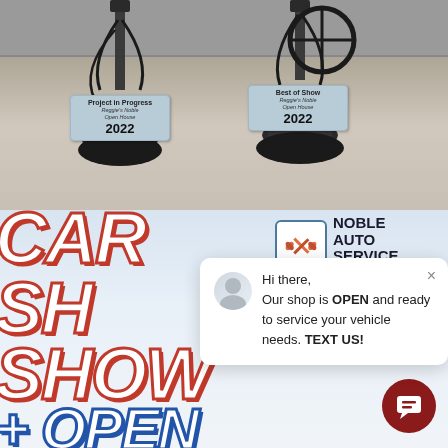[Figure (photo): Photo of two trophy awards on concrete ground against a brick wall. Left trophy has plaque reading 'Project in Progress / Reggie's Noble Open House / 2022'. Right trophy has plaque reading 'Best of Show / Reggie's Noble Open House / 2022'.]
[Figure (photo): Car Show poster/banner visible in lower left with large stylized text 'CAR SHOW + OPEN' in white with red and blue outlines. Noble Auto Service logo in upper right corner. A chat popup overlay reads 'Hi there, Our shop is OPEN and ready to service your vehicle needs. TEXT US!' with a person avatar.]
Hi there,
Our shop is OPEN and ready to service your vehicle needs. TEXT US!